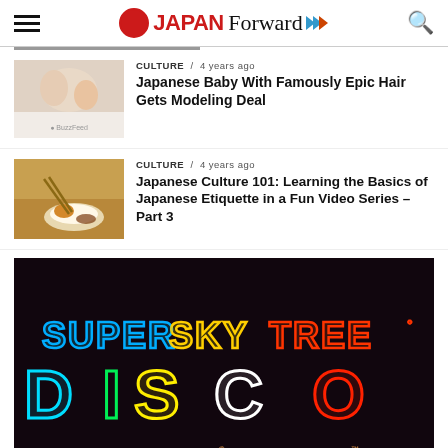JAPAN Forward
[Figure (photo): Thumbnail of woman and baby smiling]
CULTURE / 4 years ago
Japanese Baby With Famously Epic Hair Gets Modeling Deal
[Figure (photo): Thumbnail of food on plate with sauce]
CULTURE / 4 years ago
Japanese Culture 101: Learning the Basics of Japanese Etiquette in a Fun Video Series – Part 3
[Figure (photo): Neon sign reading SUPER SKYTREE DISCO with text TOKYO SKYTREE · AWA · NAKED]